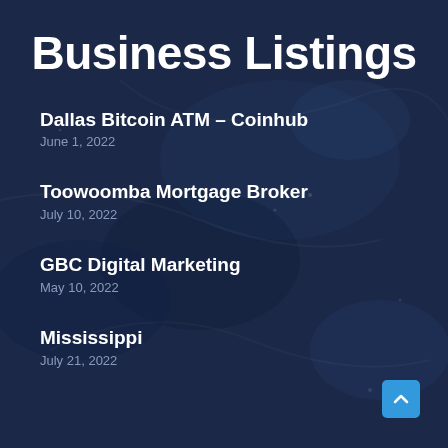Business Listings
Dallas Bitcoin ATM – Coinhub
June 1, 2022
Toowoomba Mortgage Broker
July 10, 2022
GBC Digital Marketing
May 10, 2022
Mississippi
July 21, 2022